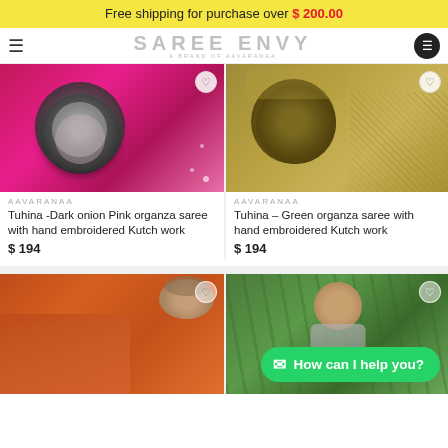Free shipping for purchase over $ 200.00
[Figure (logo): SAREE ENVY brand logo with tagline 'A BRAND OF AAVARANAA']
[Figure (photo): Pink organza saree folded with silver necklace jewelry]
[Figure (photo): Green/gold organza saree folded with necklace jewelry]
AAVARANAA
Tuhina -Dark onion Pink organza saree with hand embroidered Kutch work
$ 194
AAVARANAA
Tuhina – Green organza saree with hand embroidered Kutch work
$ 194
[Figure (photo): Orange/rust saree folded with decorative bowl]
[Figure (photo): Woman model smiling in front of palm trees]
How can I help you?